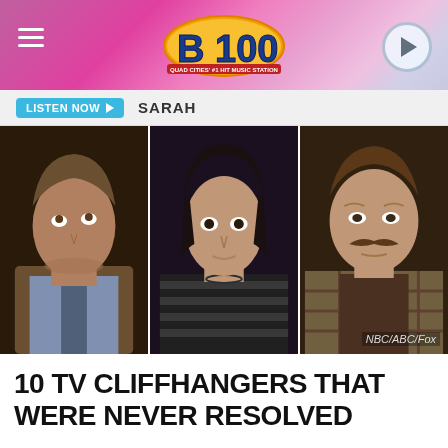B100 | LISTEN NOW | SARAH
[Figure (photo): Three TV show actors in a collage: left panel shows a man in a suit looking up (NBC), center panel shows a young man with dark hair in a striped shirt (ABC), right panel shows a man with a mustache in a plaid shirt (Fox). Credit: NBC/ABC/Fox]
NBC/ABC/Fox
10 TV CLIFFHANGERS THAT WERE NEVER RESOLVED